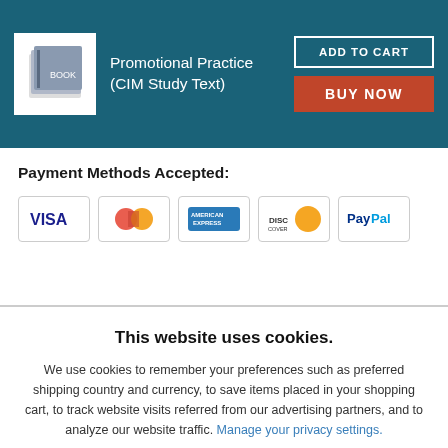[Figure (screenshot): Book product header bar with book icon, title 'Promotional Practice (CIM Study Text)', ADD TO CART button, and BUY NOW button on teal background]
Payment Methods Accepted:
[Figure (other): Payment method logos: VISA, MasterCard, American Express, Discover, PayPal]
This website uses cookies.
We use cookies to remember your preferences such as preferred shipping country and currency, to save items placed in your shopping cart, to track website visits referred from our advertising partners, and to analyze our website traffic. Manage your privacy settings.
AGREE AND CLOSE